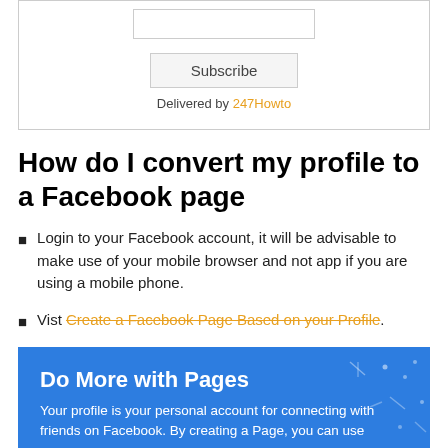[Figure (screenshot): Subscribe form with input field, Subscribe button, and 'Delivered by 247Howto' text]
How do I convert my profile to a Facebook page
Login to your Facebook account, it will be advisable to make use of your mobile browser and not app if you are using a mobile phone.
Vist Create a Facebook Page Based on your Profile.
[Figure (screenshot): Blue Facebook promotional box titled 'Do More with Pages' with text 'Your profile is your personal account for connecting with friends on Facebook. By creating a Page, you can use']